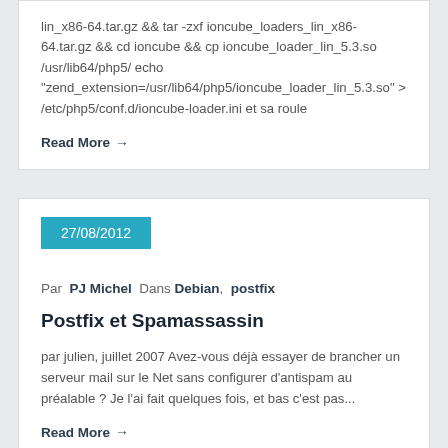lin_x86-64.tar.gz && tar -zxf ioncube_loaders_lin_x86-64.tar.gz && cd ioncube && cp ioncube_loader_lin_5.3.so /usr/lib64/php5/ echo "zend_extension=/usr/lib64/php5/ioncube_loader_lin_5.3.so" > /etc/php5/conf.d/ioncube-loader.ini et sa roule
Read More →
27/08/2012
Par PJ Michel Dans Debian, postfix
Postfix et Spamassassin
par julien, juillet 2007 Avez-vous déjà essayer de brancher un serveur mail sur le Net sans configurer d'antispam au préalable ? Je l'ai fait quelques fois, et bas c'est pas...
Read More →